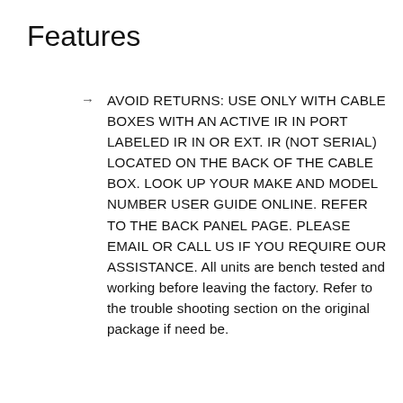Features
AVOID RETURNS: USE ONLY WITH CABLE BOXES WITH AN ACTIVE IR IN PORT LABELED IR IN OR EXT. IR (NOT SERIAL) LOCATED ON THE BACK OF THE CABLE BOX. LOOK UP YOUR MAKE AND MODEL NUMBER USER GUIDE ONLINE. REFER TO THE BACK PANEL PAGE. PLEASE EMAIL OR CALL US IF YOU REQUIRE OUR ASSISTANCE. All units are bench tested and working before leaving the factory. Refer to the trouble shooting section on the original package if need be.